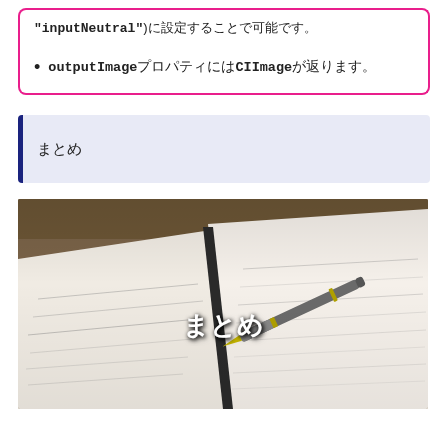"inputNeutral")に設定することで可能です。
outputImageプロパティにはCIImageが返ります。
まとめ
[Figure (photo): Photo of an open notebook with handwritten text and a fountain pen lying across it, with a wooden surface in the background. The word 'まとめ' (matome/summary) is overlaid in white text.]